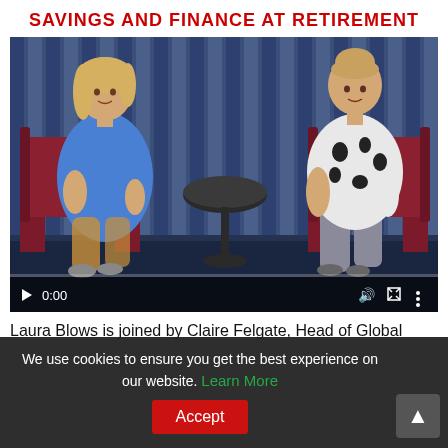SAVINGS AND FINANCE AT RETIREMENT
[Figure (screenshot): Video thumbnail showing two women seated in chairs facing each other with a round table between them in a studio setting with blue curtain backdrop. Video player controls visible at bottom showing timecode 0:00.]
Laura Blows is joined by Claire Felgate, Head of Global
We use cookies to ensure you get the best experience on our website. Learn More Accept